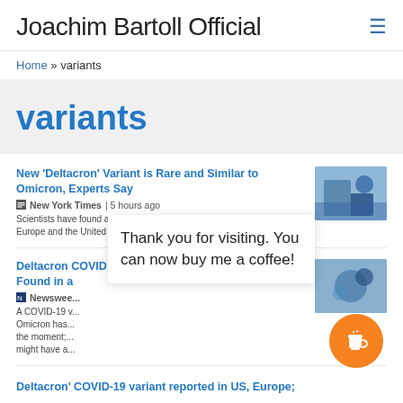Joachim Bartoll Official
Home » variants
variants
New 'Deltacron' Variant is Rare and Similar to Omicron, Experts Say
New York Times | 5 hours ago
Scientists have found a handful of cases of a new, hybrid variant in Europe and the United States. It's unlikely to cause trouble, they say.
Deltacron COVID Variant, Mix of Delta and Omicron, Found in a
Newsweek
A COVID-19 v... Omicron has... the moment;... might have a...
Thank you for visiting. You can now buy me a coffee!
Deltacron' COVID-19 variant reported in US, Europe;